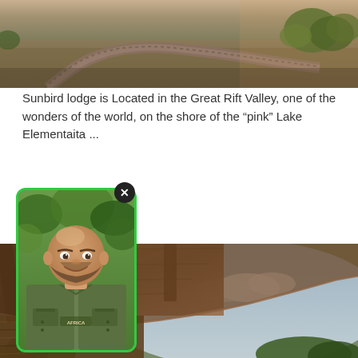[Figure (photo): Aerial or elevated view of a winding dirt road through a savanna landscape with green trees and warm evening light]
Sunbird lodge is Located in the Great Rift Valley, one of the wonders of the world, on the shore of the “pink” Lake Elementaita ...
[Figure (photo): Portrait of a bald, bearded man in a green safari vest with 'AFRICA' text, smiling, with trees in background]
[Figure (photo): Interior upward view of a wooden beam ceiling structure of a lodge with sky and trees visible beyond]